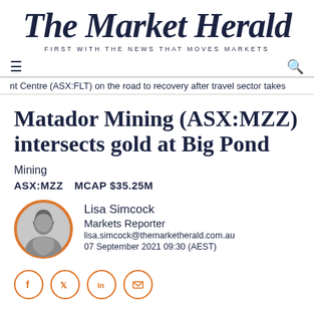The Market Herald — FIRST WITH THE NEWS THAT MOVES MARKETS
nt Centre (ASX:FLT) on the road to recovery after travel sector takes
Matador Mining (ASX:MZZ) intersects gold at Big Pond
Mining
ASX:MZZ   MCAP $35.25M
Lisa Simcock
Markets Reporter
lisa.simcock@themarketherald.com.au
07 September 2021 09:30 (AEST)